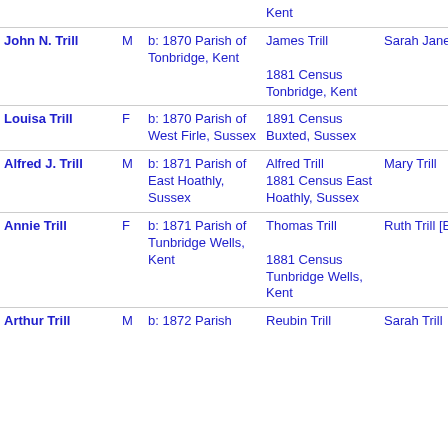| Name | Sex | Birth | Source | Father | Mother |
| --- | --- | --- | --- | --- | --- |
|  |  |  | Kent |  |  |
| John N. Trill | M | b: 1870 Parish of Tonbridge, Kent | James Trill
1881 Census Tonbridge, Kent | Sarah Jane Trill |  |
| Louisa Trill | F | b: 1870 Parish of West Firle, Sussex | 1891 Census Buxted, Sussex |  |  |
| Alfred J. Trill | M | b: 1871 Parish of East Hoathly, Sussex | Alfred Trill
1881 Census East Hoathly, Sussex | Mary Trill |  |
| Annie Trill | F | b: 1871 Parish of Tunbridge Wells, Kent | Thomas Trill
1881 Census Tunbridge Wells, Kent | Ruth Trill [Botten] |  |
| Arthur Trill | M | b: 1872 Parish | Reubin Trill | Sarah Trill |  |